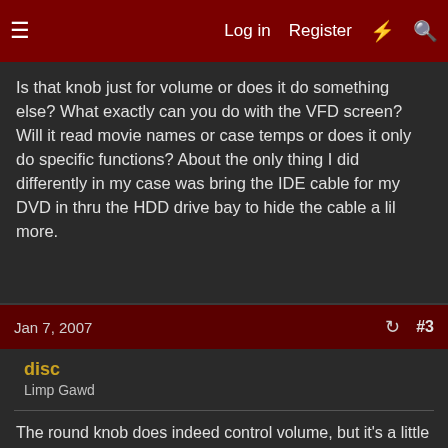Log in   Register   #3
Is that knob just for volume or does it do something else? What exactly can you do with the VFD screen? Will it read movie names or case temps or does it only do specific functions? About the only thing I did differently in my case was bring the IDE cable for my DVD in thru the HDD drive bay to hide the cable a lil more.
Jan 7, 2007   #3
disc
Limp Gawd
The round knob does indeed control volume, but it's a little impractical since I'm not getting my lazy ass off the couch to adjust the volume. I'm not sure if it's functionality can be changed.

The VFD is controlled by LCD Smartie, which is VERY customizable. I have it set up to display the channel and